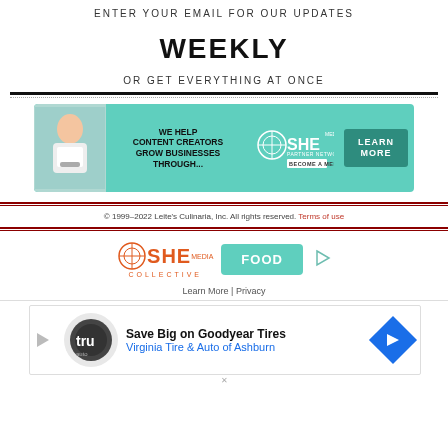ENTER YOUR EMAIL FOR OUR UPDATES
WEEKLY
OR GET EVERYTHING AT ONCE
[Figure (illustration): SHE Media Partner Network banner ad: teal background, woman with tablet on left, SHE Media logo and LEARN MORE button]
© 1999–2022 Leite's Culinaria, Inc. All rights reserved. Terms of use
[Figure (logo): SHE Media Collective logo with FOOD button and play icon]
Learn More | Privacy
[Figure (illustration): Advertisement: Save Big on Goodyear Tires - Virginia Tire & Auto of Ashburn]